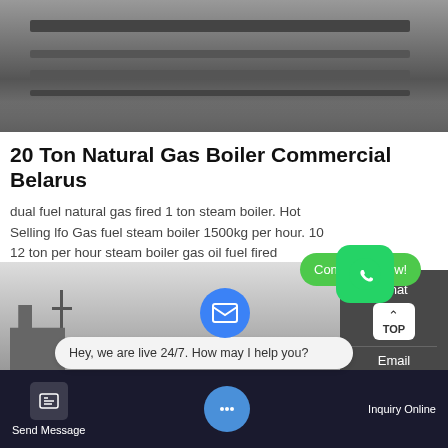[Figure (photo): Industrial boiler or metal structure photo, dark grey metallic pipes/beams]
20 Ton Natural Gas Boiler Commercial Belarus
dual fuel natural gas fired 1 ton steam boiler. Hot Selling lfo Gas fuel steam boiler 1500kg per hour. 10 12 ton per hour steam boiler gas oil fuel fired 6/26/2018 · Boilers on ships are used for supply of steam for various processes such as The Aalborg 3-Pass Mini boiler is a gas, LFO or dual fuel industrial boiler with a 0.5-2.5 ton / hour steam capacity and a design pressure up to 21 bar.
[Figure (screenshot): Learn More button (cyan/teal), WhatsApp icon, Contact us now green button, sidebar with Chat/TOP/Email, chat bubble saying Hey we are live 24/7, bottom bar with Send Message and Inquiry Online]
Hey, we are live 24/7. How may I help you?